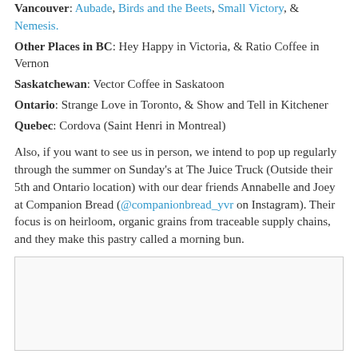Vancouver: Aubade, Birds and the Beets, Small Victory, & Nemesis.
Other Places in BC: Hey Happy in Victoria, & Ratio Coffee in Vernon
Saskatchewan: Vector Coffee in Saskatoon
Ontario: Strange Love in Toronto, & Show and Tell in Kitchener
Quebec: Cordova (Saint Henri in Montreal)
Also, if you want to see us in person, we intend to pop up regularly through the summer on Sunday's at The Juice Truck (Outside their 5th and Ontario location) with our dear friends Annabelle and Joey at Companion Bread (@companionbread_yvr on Instagram). Their focus is on heirloom, organic grains from traceable supply chains, and they make this pastry called a morning bun.
[Figure (photo): Image placeholder area with light grey border]